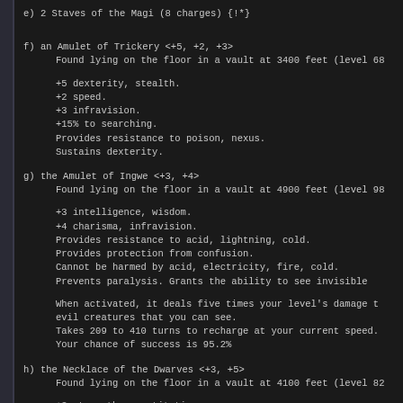e) 2 Staves of the Magi (8 charges) {!*}
f) an Amulet of Trickery <+5, +2, +3>
    Found lying on the floor in a vault at 3400 feet (level 68)
    +5 dexterity, stealth.
    +2 speed.
    +3 infravision.
    +15% to searching.
    Provides resistance to poison, nexus.
    Sustains dexterity.
g) the Amulet of Ingwe <+3, +4>
    Found lying on the floor in a vault at 4900 feet (level 98)
    +3 intelligence, wisdom.
    +4 charisma, infravision.
    Provides resistance to acid, lightning, cold.
    Provides protection from confusion.
    Cannot be harmed by acid, electricity, fire, cold.
    Prevents paralysis.  Grants the ability to see invisible
    When activated, it deals five times your level's damage to evil creatures that you can see.
    Takes 209 to 410 turns to recharge at your current speed.
    Your chance of success is 95.2%
h) the Necklace of the Dwarves <+3, +5>
    Found lying on the floor in a vault at 4100 feet (level 82)
    +3 strength, constitution.
    +5 infravision.
    Provides protection from fear.
    Cannot be harmed by acid, electricity, fire, cold.
    Speeds regeneration.  Prevents paralysis.  Grants the abi